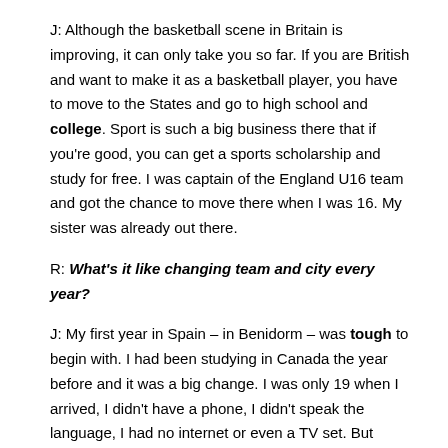J: Although the basketball scene in Britain is improving, it can only take you so far. If you are British and want to make it as a basketball player, you have to move to the States and go to high school and college. Sport is such a big business there that if you're good, you can get a sports scholarship and study for free. I was captain of the England U16 team and got the chance to move there when I was 16. My sister was already out there.
R: What's it like changing team and city every year?
J: My first year in Spain – in Benidorm – was tough to begin with. I had been studying in Canada the year before and it was a big change. I was only 19 when I arrived, I didn't have a phone, I didn't speak the language, I had no internet or even a TV set. But when I started training I met people, began learning things and life gradually got more comfortable. I make a point of walking around my new home in the first few days I'm there to get my bearings and settle in quicker.
R: Araberri had a bad season last year. Why do you think the team is doing well this year?